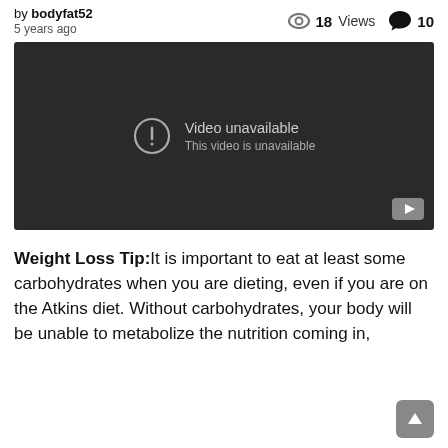by bodyfat52
5 years ago
18 Views  10
[Figure (screenshot): Embedded video player showing 'Video unavailable - This video is unavailable' message on dark background with YouTube logo button at bottom right]
Weight Loss Tip: It is important to eat at least some carbohydrates when you are dieting, even if you are on the Atkins diet. Without carbohydrates, your body will be unable to metabolize the nutrition coming in,